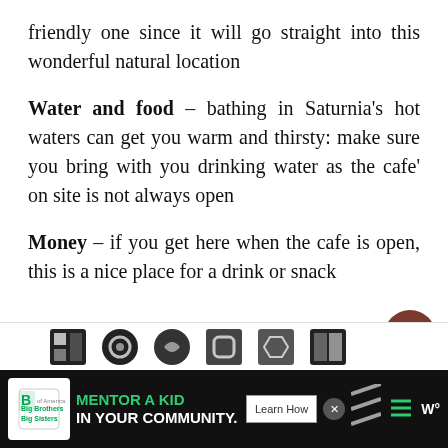friendly one since it will go straight into this wonderful natural location
Water and food – bathing in Saturnia's hot waters can get you warm and thirsty: make sure you bring with you drinking water as the cafe' on site is not always open
Money – if you get here when the cafe is open, this is a nice place for a drink or snack
[Figure (screenshot): UI overlay with heart/like button showing count of 8, share button, close X button, and What's Next panel showing Bagno Vignoni thumbnail and text]
[Figure (screenshot): Bottom advertisement bar: Big Brothers Big Sisters logo, MENTOR A KID IN YOUR COMMUNITY text in green and white, Learn How button, close button, social share icons, and Headspace icon]